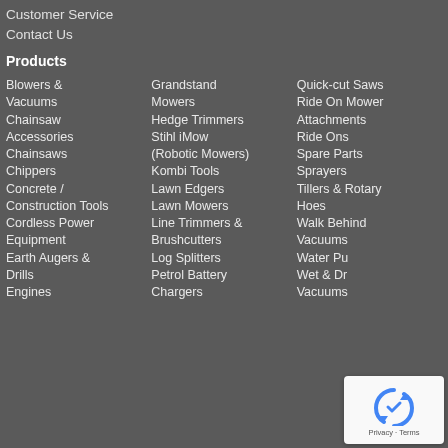Customer Service
Contact Us
Products
Blowers & Vacuums
Chainsaw Accessories
Chainsaws
Chippers
Concrete / Construction Tools
Cordless Power Equipment
Earth Augers & Drills
Engines
Grandstand Mowers
Hedge Trimmers
Stihl iMow (Robotic Mowers)
Kombi Tools
Lawn Edgers
Lawn Mowers
Line Trimmers & Brushcutters
Log Splitters
Petrol Battery Chargers
Quick-cut Saws
Ride On Mower Attachments
Ride Ons
Spare Parts
Sprayers
Tillers & Rotary Hoes
Walk Behind Vacuums
Water Pumps
Wet & Dry Vacuums